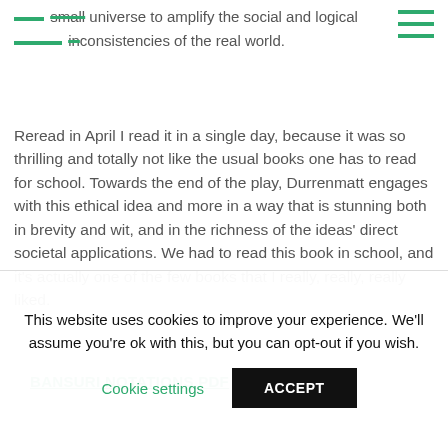concerns about Cold War macro politics to create a small universe to amplify the social and logical inconsistencies of the real world.
Reread in April I read it in a single day, because it was so thrilling and totally not like the usual books one has to read for school. Towards the end of the play, Durrenmatt engages with this ethical idea and more in a way that is stunning both in brevity and wit, and in the richness of the ideas' direct societal applications. We had to read this book in school, and it's actually one of the few books that I really, really, really liked.
BANSURI NOTATIONS PDF
This website uses cookies to improve your experience. We'll assume you're ok with this, but you can opt-out if you wish.
Cookie settings
ACCEPT